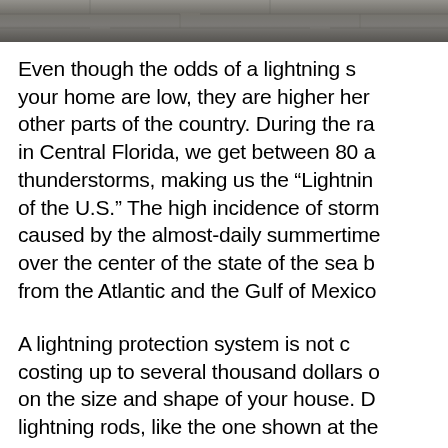[Figure (photo): Partial photo of a stone or tile surface, cropped at the top of the page]
Even though the odds of a lightning strike hitting your home are low, they are higher here than in other parts of the country. During the rainy season in Central Florida, we get between 80 and 100 thunderstorms, making us the "Lightning Capital" of the U.S." The high incidence of storms is caused by the almost-daily summertime convergence over the center of the state of the sea breezes from the Atlantic and the Gulf of Mexico.
A lightning protection system is not cheap, costing up to several thousand dollars depending on the size and shape of your house. Do lightning rods, like the one shown at the...